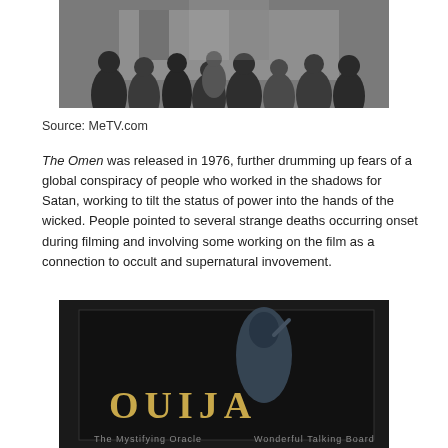[Figure (photo): Black and white photograph of a crowd of people gathered outside, viewed from behind, in an urban setting.]
Source: MeTV.com
The Omen was released in 1976, further drumming up fears of a global conspiracy of people who worked in the shadows for Satan, working to tilt the status of power into the hands of the wicked. People pointed to several strange deaths occurring onset during filming and involving some working on the film as a connection to occult and supernatural invovement.
[Figure (photo): Photo of a Ouija board box (The Mystifying Oracle / Wonderful Talking Board), dark background with a robed figure.]